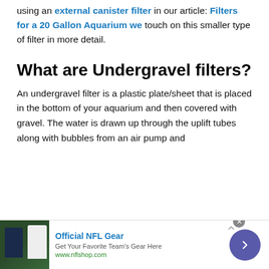using an external canister filter in our article: Filters for a 20 Gallon Aquarium we touch on this smaller type of filter in more detail.
What are Undergravel filters?
An undergravel filter is a plastic plate/sheet that is placed in the bottom of your aquarium and then covered with gravel. The water is drawn up through the uplift tubes along with bubbles from an air pump and
[Figure (other): Advertisement banner for Official NFL Gear featuring team jerseys, with title 'Official NFL Gear', description 'Get Your Favorite Team's Gear Here', URL 'www.nflshop.com', a navigation arrow button, and a close button.]